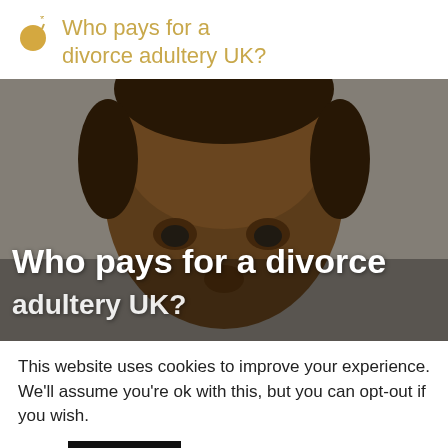Who pays for a divorce adultery UK?
[Figure (photo): Close-up photo of a man's face with blurred background. Overlaid white bold text reads 'Who pays for a divorce adultery UK?']
This website uses cookies to improve your experience. We'll assume you're ok with this, but you can opt-out if you wish.
Accept   Read More